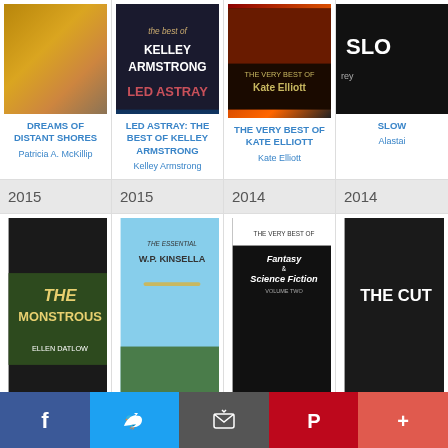[Figure (photo): Book cover: Dreams of Distant Shores by Patricia A. McKillip]
DREAMS OF DISTANT SHORES
Patricia A. McKillip
[Figure (photo): Book cover: Led Astray: The Best of Kelley Armstrong]
LED ASTRAY: THE BEST OF KELLEY ARMSTRONG
Kelley Armstrong
[Figure (photo): Book cover: The Very Best of Kate Elliott]
THE VERY BEST OF KATE ELLIOTT
Kate Elliott
[Figure (photo): Book cover: SLOW (partially visible), Alastair...]
SLOW
Alastai
2015
2015
2014
2014
[Figure (photo): Book cover: The Monstrous, edited by Ellen Datlow]
[Figure (photo): Book cover: The Essential W.P. Kinsella]
[Figure (photo): Book cover: The Very Best of Fantasy & Science Fiction, Volume Two]
[Figure (photo): Book cover: The Cut (partially visible)]